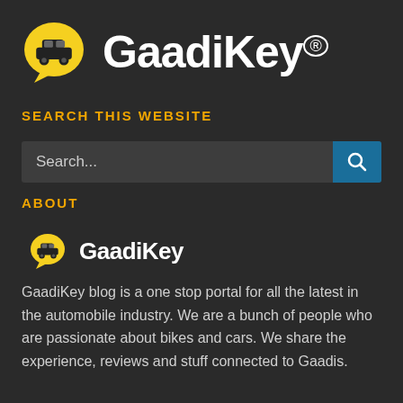[Figure (logo): GaadiKey logo: yellow speech-bubble with black car icon, followed by white bold text 'GaadiKey' with registered trademark symbol]
SEARCH THIS WEBSITE
[Figure (screenshot): Search input bar with placeholder text 'Search...' and a teal/blue search button with magnifier icon]
ABOUT
[Figure (logo): Small GaadiKey logo icon (yellow speech bubble with car) followed by bold white text 'GaadiKey']
GaadiKey blog is a one stop portal for all the latest in the automobile industry. We are a bunch of people who are passionate about bikes and cars. We share the experience, reviews and stuff connected to Gaadis.